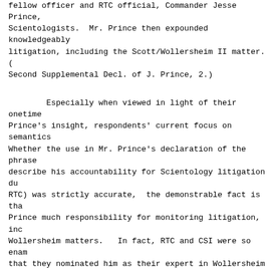fellow officer and RTC official, Commander Jesse Prince,
Scientologists.  Mr. Prince then expounded knowledgeably
litigation, including the Scott/Wollersheim II matter.  (
Second Supplemental Decl. of J. Prince, 2.)
Especially when viewed in light of their onetime
Prince's insight, respondents' current focus on semantics
Whether the use in Mr. Prince's declaration of the phrase
describe his accountability for Scientology litigation du
RTC) was strictly accurate,  the demonstrable fact is tha
Prince much responsibility for monitoring litigation, inc
Wollersheim matters.   In fact, RTC and CSI were so enam
that they nominated him as their expert in Wollersheim II
Decl., 28.)
C.       RTC Fails To Overcome The Evidence Demons
Integral Role In The Management Of CSC's Defense.
RTC's protestations that it was uninvolved with C
perhaps most notable for what they do not contain.  As no
vast portions of Mr. Wollersheim's evidentiary base; alth
submissions before now have totalled more than 60 items
declarations and exhibits submitted with original motion
accompanying renewed motion), RTC comically characterizes
bits and pieces..."  (RTC Opp., p. 8.)
Rather than meeting the weight of Mr. Wollershei